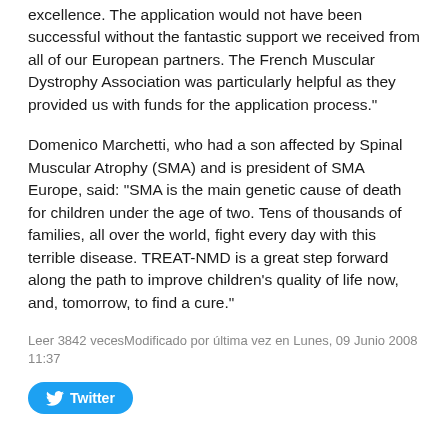excellence. The application would not have been successful without the fantastic support we received from all of our European partners. The French Muscular Dystrophy Association was particularly helpful as they provided us with funds for the application process."
Domenico Marchetti, who had a son affected by Spinal Muscular Atrophy (SMA) and is president of SMA Europe, said: "SMA is the main genetic cause of death for children under the age of two. Tens of thousands of families, all over the world, fight every day with this terrible disease. TREAT-NMD is a great step forward along the path to improve children's quality of life now, and, tomorrow, to find a cure."
Leer 3842 vecesModificado por última vez en Lunes, 09 Junio 2008 11:37
[Figure (other): Twitter share button (blue rounded rectangle with Twitter bird icon and 'Twitter' label)]